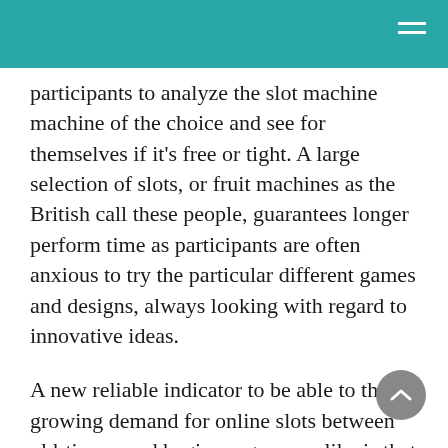participants to analyze the slot machine machine of the choice and see for themselves if it's free or tight. A large selection of slots, or fruit machines as the British call these people, guarantees longer perform time as participants are often anxious to try the particular different games and designs, always looking with regard to innovative ideas.
A new reliable indicator to be able to the growing demand for online slots between old-timers and beginner gamers alike is that the computerization of slot machine games